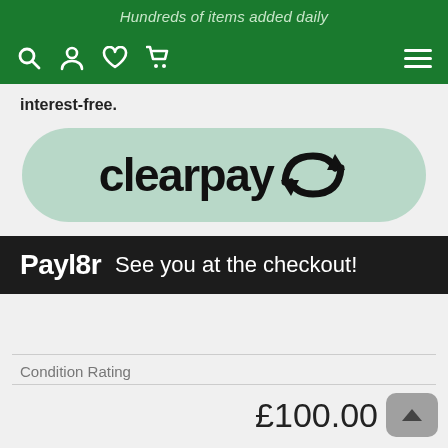Hundreds of items added daily
[Figure (screenshot): Navigation bar with search, user, heart, and cart icons on left, and hamburger menu on right, on green background]
interest-free.
[Figure (logo): Clearpay logo in a mint green rounded pill shape with black bold text 'clearpay' and double arrow icon]
[Figure (logo): Payl8r banner on dark background with bold white 'Payl8r' logo and text 'See you at the checkout!']
Condition Rating
£100.00